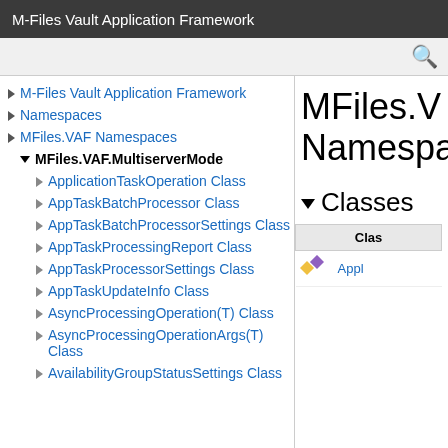M-Files Vault Application Framework
M-Files Vault Application Framework
Namespaces
MFiles.VAF Namespaces
MFiles.VAF.MultiserverMode
ApplicationTaskOperation Class
AppTaskBatchProcessor Class
AppTaskBatchProcessorSettings Class
AppTaskProcessingReport Class
AppTaskProcessorSettings Class
AppTaskUpdateInfo Class
AsyncProcessingOperation(T) Class
AsyncProcessingOperationArgs(T) Class
AvailabilityGroupStatusSettings Class
MFiles.VAF.MultiserverMode Namespace
Classes
| Class |  |
| --- | --- |
| [icon] | ApplicationTaskOperation Class |